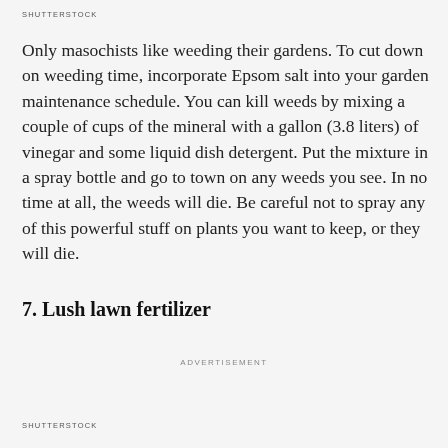SHUTTERSTOCK
Only masochists like weeding their gardens. To cut down on weeding time, incorporate Epsom salt into your garden maintenance schedule. You can kill weeds by mixing a couple of cups of the mineral with a gallon (3.8 liters) of vinegar and some liquid dish detergent. Put the mixture in a spray bottle and go to town on any weeds you see. In no time at all, the weeds will die. Be careful not to spray any of this powerful stuff on plants you want to keep, or they will die.
7. Lush lawn fertilizer
ADVERTISEMENT
SHUTTERSTOCK